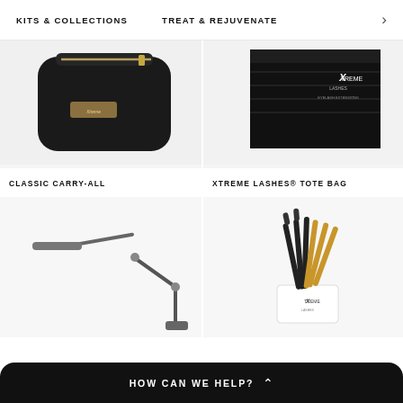KITS & COLLECTIONS   TREAT & REJUVENATE
[Figure (photo): Black leather classic carry-all bag with gold zipper and Xtreme Lashes logo tag, photographed on white background]
CLASSIC CARRY-ALL
[Figure (photo): Black Xtreme Lashes tote bag / box with logo and 'Eyelash Extensions' text, photographed on white background]
XTREME LASHES® TOTE BAG
[Figure (photo): Sleek modern articulated arm desk lamp in silver/grey, photographed on white background]
[Figure (photo): Xtreme Lashes branded white cup holding multiple black and gold cosmetic brushes/tools, photographed on white background]
HOW CAN WE HELP?